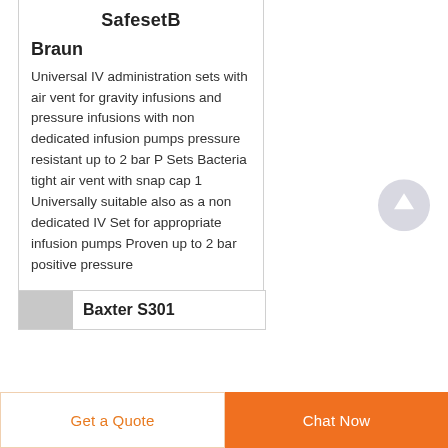SafesetB
Braun
Universal IV administration sets with air vent for gravity infusions and pressure infusions with non dedicated infusion pumps pressure resistant up to 2 bar P Sets Bacteria tight air vent with snap cap 1 Universally suitable also as a non dedicated IV Set for appropriate infusion pumps Proven up to 2 bar positive pressure
Baxter S301
Get a Quote | Chat Now